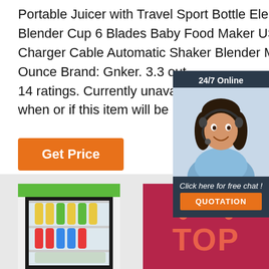Portable Juicer with Travel Sport Bottle Electric Fruit Blender Cup 6 Blades Baby Food Maker USB Charger Cable Automatic Shaker Blender Mixer 13 Ounce Brand: Gnker. 3.3 out of 5 stars 14 ratings. Currently unavailable. We don't know when or if this item will be back in stock.
[Figure (other): Customer service chat widget with '24/7 Online' header, photo of a woman wearing a headset, text 'Click here for free chat!' and an orange QUOTATION button]
[Figure (other): Orange 'Get Price' button]
[Figure (photo): Bottom section showing a display refrigerator with bottles and a crimson/maroon panel with a 'TOP' logo in orange/pink]
Get Price